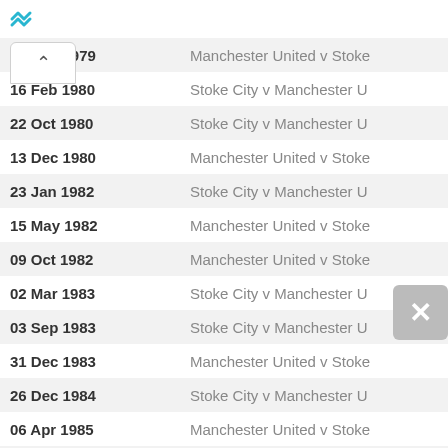| Date | Match |
| --- | --- |
| 29 Sep 1979 | Manchester United v Stoke |
| 16 Feb 1980 | Stoke City v Manchester U |
| 22 Oct 1980 | Stoke City v Manchester U |
| 13 Dec 1980 | Manchester United v Stoke |
| 23 Jan 1982 | Stoke City v Manchester U |
| 15 May 1982 | Manchester United v Stoke |
| 09 Oct 1982 | Manchester United v Stoke |
| 02 Mar 1983 | Stoke City v Manchester U |
| 03 Sep 1983 | Stoke City v Manchester U |
| 31 Dec 1983 | Manchester United v Stoke |
| 26 Dec 1984 | Stoke City v Manchester U |
| 06 Apr 1985 | Manchester United v Stoke |
| 22 Sep 1993 | Stoke City v Manchester U |
| 06 Oct 1993 | Manchester United v Stoke |
| 15 Nov 2008 | Manchester United v Stoke |
| 26 Dec 2008 | Stoke City v Manchester U |
| 26 Sep 2009 | Stoke City v Manchester U |
| 09 May 2010 | Manchester United v Stoke |